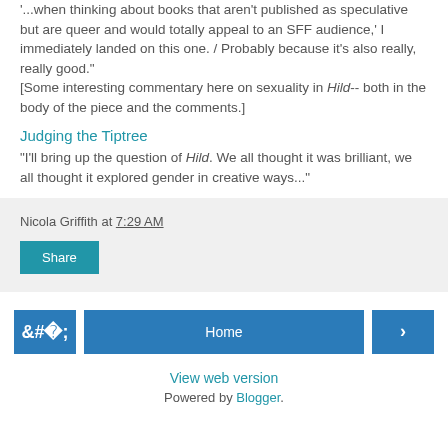'...when thinking about books that aren't published as speculative but are queer and would totally appeal to an SFF audience,' I immediately landed on this one. / Probably because it's also really, really good." [Some interesting commentary here on sexuality in Hild-- both in the body of the piece and the comments.]
Judging the Tiptree
"I'll bring up the question of Hild. We all thought it was brilliant, we all thought it explored gender in creative ways..."
Nicola Griffith at 7:29 AM
Share
Home
View web version
Powered by Blogger.